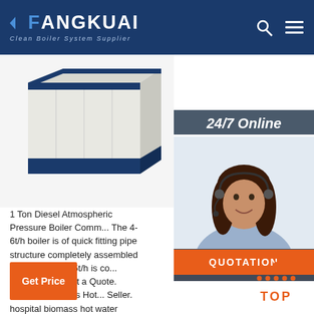FANGKUAI - Clean Boiler System Supplier
[Figure (photo): Industrial boiler unit — white and navy blue rectangular boiler equipment shown from an angle]
[Figure (photo): Customer service representative woman with headset smiling, with '24/7 Online' label and 'Click here for free chat!' overlay and QUOTATION button]
1 Ton Diesel Atmospheric Pressure Boiler Comm... The 4-6t/h boiler is of quick fitting pipe structure completely assembled the boiler of 6-35t/h is co... components. Get a Quote. Hospital Biomass Hot... Seller. hospital biomass hot water seller_360. oil gas fired hot water water heating fuel ...
Get Price
TOP